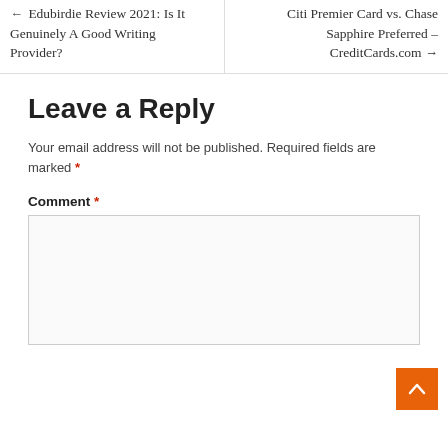← Edubirdie Review 2021: Is It Genuinely A Good Writing Provider?
Citi Premier Card vs. Chase Sapphire Preferred – CreditCards.com →
Leave a Reply
Your email address will not be published. Required fields are marked *
Comment *